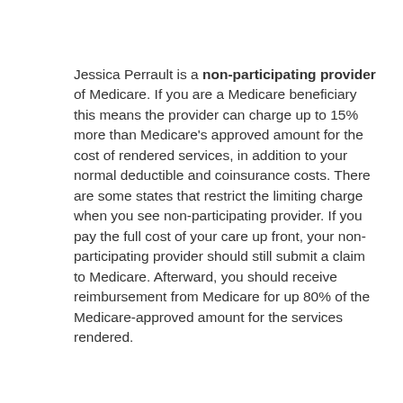Jessica Perrault is a non-participating provider of Medicare. If you are a Medicare beneficiary this means the provider can charge up to 15% more than Medicare's approved amount for the cost of rendered services, in addition to your normal deductible and coinsurance costs. There are some states that restrict the limiting charge when you see non-participating provider. If you pay the full cost of your care up front, your non- participating provider should still submit a claim to Medicare. Afterward, you should receive reimbursement from Medicare for up 80% of the Medicare-approved amount for the services rendered.